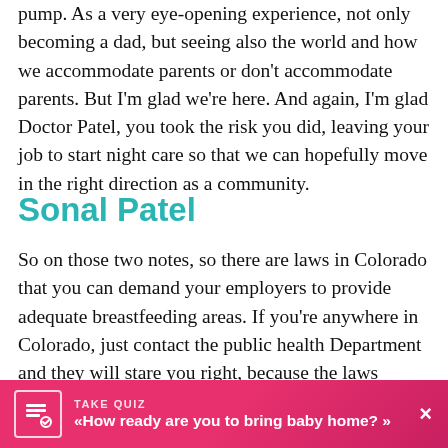pump. As a very eye-opening experience, not only becoming a dad, but seeing also the world and how we accommodate parents or don't accommodate parents. But I'm glad we're here. And again, I'm glad Doctor Patel, you took the risk you did, leaving your job to start night care so that we can hopefully move in the right direction as a community.
Sonal Patel
So on those two notes, so there are laws in Colorado that you can demand your employers to provide adequate breastfeeding areas. If you're anywhere in Colorado, just contact the public health Department and they will stare you right, because the laws support that. Even if you're working at a Burger King, there are ways, and I don't think people are aware of that.
Santiago (Santi)
I would say at least me personally, I'm definitely not aware of
TAKE QUIZ «How ready are you to bring baby home? »